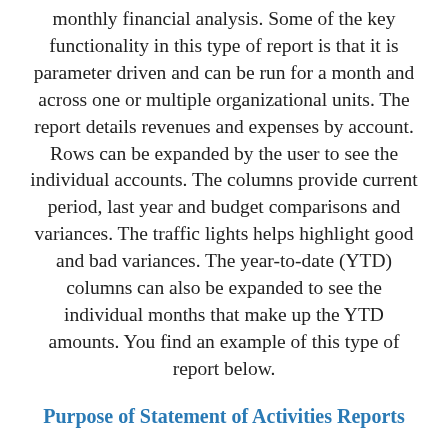monthly financial analysis. Some of the key functionality in this type of report is that it is parameter driven and can be run for a month and across one or multiple organizational units. The report details revenues and expenses by account. Rows can be expanded by the user to see the individual accounts. The columns provide current period, last year and budget comparisons and variances. The traffic lights helps highlight good and bad variances. The year-to-date (YTD) columns can also be expanded to see the individual months that make up the YTD amounts. You find an example of this type of report below.
Purpose of Statement of Activities Reports
Nonprofits and associations use Statement of Activities Reports to give executives and